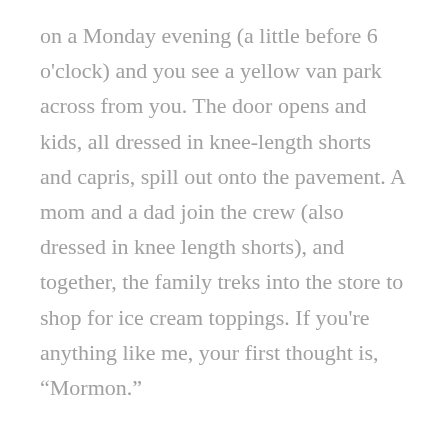on a Monday evening (a little before 6 o'clock) and you see a yellow van park across from you. The door opens and kids, all dressed in knee-length shorts and capris, spill out onto the pavement. A mom and a dad join the crew (also dressed in knee length shorts), and together, the family treks into the store to shop for ice cream toppings. If you're anything like me, your first thought is, “Mormon.”

It’s not always easy to tell if someone is Mormon, but some things (like knee-length shorts and big families) are pretty good hints. Sometimes just a name is a dead giveaway: if